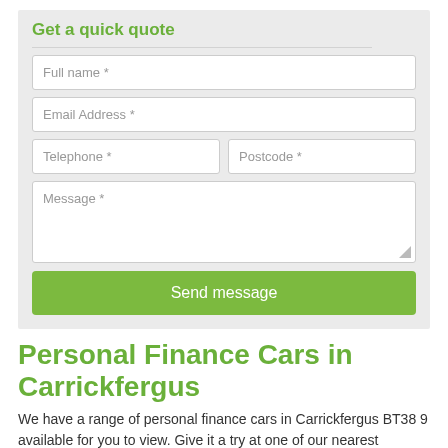Get a quick quote
[Figure (screenshot): Web form with input fields: Full name *, Email Address *, Telephone *, Postcode *, Message *, and a Send message button]
Personal Finance Cars in Carrickfergus
We have a range of personal finance cars in Carrickfergus BT38 9 available for you to view. Give it a try at one of our nearest dealers...